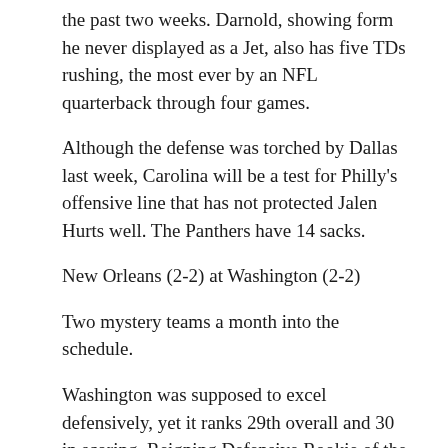the past two weeks. Darnold, showing form he never displayed as a Jet, also has five TDs rushing, the most ever by an NFL quarterback through four games.
Although the defense was torched by Dallas last week, Carolina will be a test for Philly's offensive line that has not protected Jalen Hurts well. The Panthers have 14 sacks.
New Orleans (2-2) at Washington (2-2)
Two mystery teams a month into the schedule.
Washington was supposed to excel defensively, yet it ranks 29th overall and 30 in scoring. Reigning Defensive Rookie of the Year Chase Young has no sacks and Washington has allowed points on each opponent's opening drive: three TDs and a field goal.
New Orleans either looks great or abysmal, which it was at home to the then-winless Giants last Sunday,